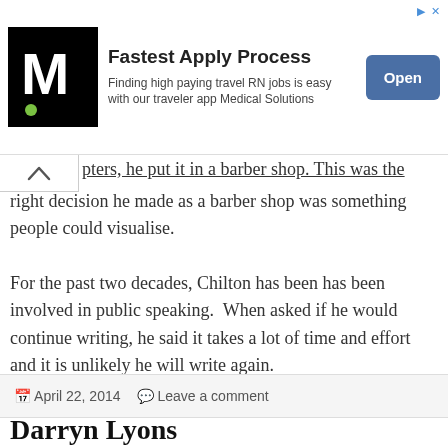[Figure (screenshot): Advertisement banner for Medical Solutions: 'Fastest Apply Process' with logo and Open button]
pters, he put it in a barber shop.  This was the right decision he made as a barber shop was something people could visualise.
For the past two decades, Chilton has been has been involved in public speaking.  When asked if he would continue writing, he said it takes a lot of time and effort and it is unlikely he will write again.
April 22, 2014   Leave a comment
Darryn Lyons